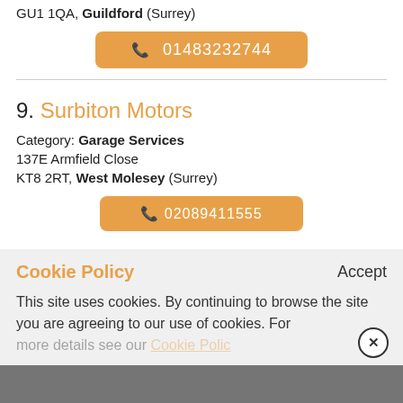GU1 1QA, Guildford (Surrey)
📞 01483232744
9. Surbiton Motors
Category: Garage Services
137E Armfield Close
KT8 2RT, West Molesey (Surrey)
📞 02089411555
Cookie Policy
Accept
This site uses cookies. By continuing to browse the site you are agreeing to our use of cookies. For more details see our Cookie Policy